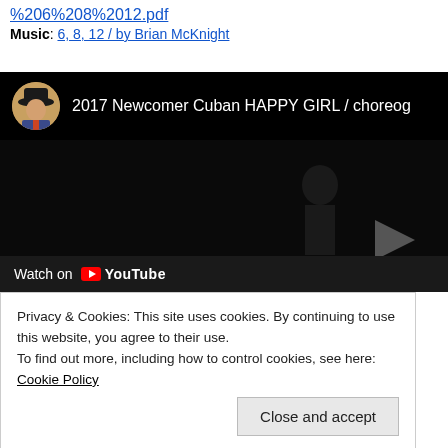%206%208%2012.pdf
Music: 6, 8, 12 / by Brian McKnight
[Figure (screenshot): YouTube video embed showing '2017 Newcomer Cuban HAPPY GIRL / choreog...' with a circular avatar of a man wearing a black cowboy hat on the left, video content is dark with a play button visible, and a 'Watch on YouTube' bar at the bottom.]
Privacy & Cookies: This site uses cookies. By continuing to use this website, you agree to their use.
To find out more, including how to control cookies, see here: Cookie Policy
Close and accept